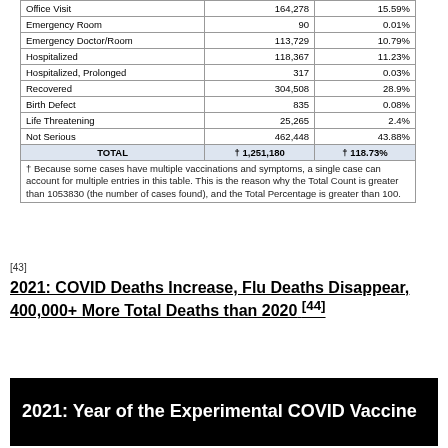|  | Count | Percentage |
| --- | --- | --- |
| Office Visit | 164,278 | 15.59% |
| Emergency Room | 90 | 0.01% |
| Emergency Doctor/Room | 113,729 | 10.79% |
| Hospitalized | 118,367 | 11.23% |
| Hospitalized, Prolonged | 317 | 0.03% |
| Recovered | 304,508 | 28.9% |
| Birth Defect | 835 | 0.08% |
| Life Threatening | 25,265 | 2.4% |
| Not Serious | 462,448 | 43.88% |
| TOTAL | † 1,251,180 | † 118.73% |
† Because some cases have multiple vaccinations and symptoms, a single case can account for multiple entries in this table. This is the reason why the Total Count is greater than 1053830 (the number of cases found), and the Total Percentage is greater than 100.
[43]
2021: COVID Deaths Increase, Flu Deaths Disappear, 400,000+ More Total Deaths than 2020 [44]
[Figure (photo): Black banner image with white bold text reading: 2021: Year of the Experimental COVID Vaccine]